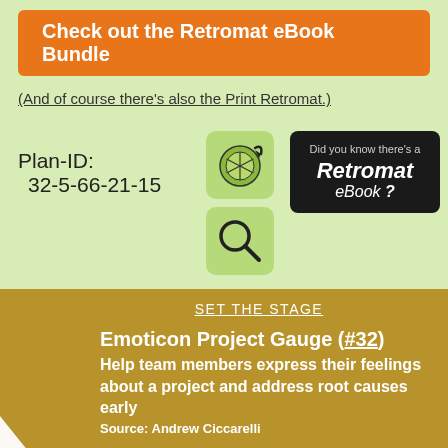Check out the Retromat eBook Bundle
(And of course there's also the Print Retromat.)
Plan-ID:
 32-5-66-21-15
[Figure (illustration): Green icon with lime/citrus slice and arrow]
[Figure (illustration): Green icon with magnifying glass]
[Figure (illustration): Dark banner: Did you know there's a Retromat eBook?]
SET THE STAGE
Emoticon Project Gauge (#32)
Help team members express their feelings about a project and address root causes early
Source: Andrew Ciccarelli
Prepare a flipchart with faces expressing various emotions such as:
shocked / surprised